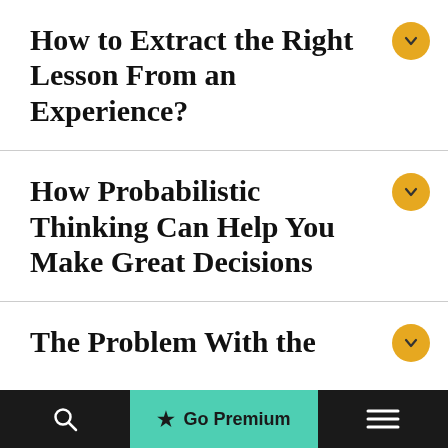How to Extract the Right Lesson From an Experience?
How Probabilistic Thinking Can Help You Make Great Decisions
The Problem With the
Go Premium